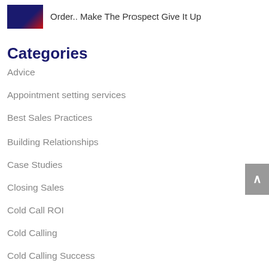[Figure (thumbnail): Small thumbnail image with dark blue and red background, appears to be a book or course cover]
Order.. Make The Prospect Give It Up
Categories
Advice
Appointment setting services
Best Sales Practices
Building Relationships
Case Studies
Closing Sales
Cold Call ROI
Cold Calling
Cold Calling Success
Cold Calling Tips